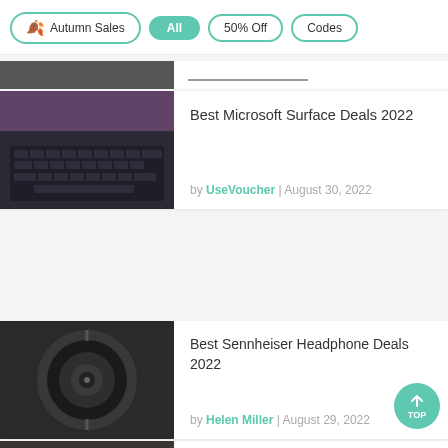🍂 Autumn Sales | All | 50% Off | Codes
[Figure (photo): Partial view of a dark laptop keyboard with purple background]
Best Microsoft Surface Deals 2022
by UseVoucher | August 30, 2022
[Figure (photo): Close-up of Sennheiser headphone ear cup in dark tones]
Best Sennheiser Headphone Deals 2022
by Helen Miller | August 29, 2022
[Figure (photo): Close-up of a watch face partially visible]
Best Watches Deals 2022